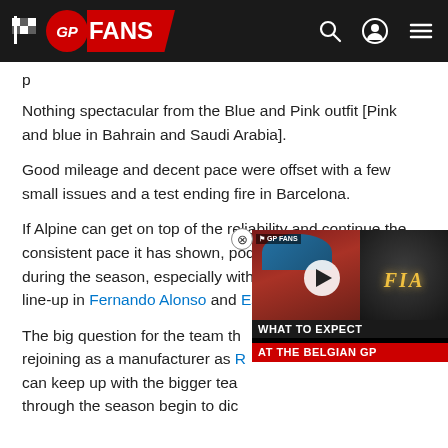GP FANS
Nothing spectacular from the Blue and Pink outfit [Pink and blue in Bahrain and Saudi Arabia].
Good mileage and decent pace were offset with a few small issues and a test ending fire in Barcelona.
If Alpine can get on top of the reliability and continue the consistent pace it has shown, podiums should follow during the season, especially with such a strong driver line-up in Fernando Alonso and Esteban O[…]
The big question for the team th[…] rejoining as a manufacturer as […] can keep up with the bigger tea[…] through the season begin to dic[…]
[Figure (screenshot): Video thumbnail overlay showing 'WHAT TO EXPECT AT THE BELGIAN GP' with a racing driver and FIA logo]
AlphaTauri